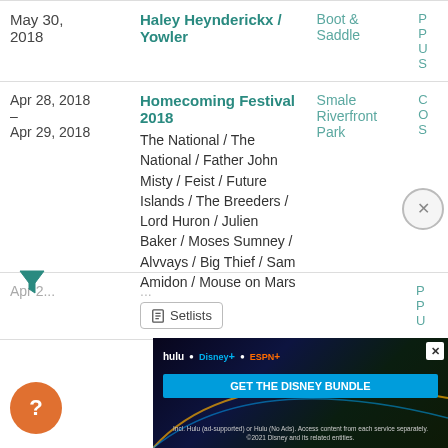| Date | Event | Venue | More |
| --- | --- | --- | --- |
| May 30, 2018 | Haley Heynderickx / Yowler | Boot & Saddle | P... |
| Apr 28, 2018 – Apr 29, 2018 | Homecoming Festival 2018
The National / The National / Father John Misty / Feist / Future Islands / The Breeders / Lord Huron / Julien Baker / Moses Sumney / Alvvays / Big Thief / Sam Amidon / Mouse on Mars | Smale Riverfront Park | C...O...S |
[Figure (other): Filter icon (funnel/triangle icon) in teal color]
[Figure (other): Close (X) button circle icon]
[Figure (other): Disney Bundle advertisement banner: hulu, Disney+, ESPN+, GET THE DISNEY BUNDLE. Incl. Hulu (ad-supported) or Hulu (No Ads). Access content from each service separately. ©2021 Disney and its related entities.]
[Figure (other): Orange circular help/question mark button]